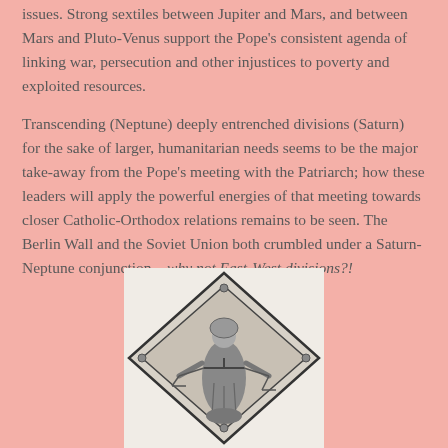issues. Strong sextiles between Jupiter and Mars, and between Mars and Pluto-Venus support the Pope's consistent agenda of linking war, persecution and other injustices to poverty and exploited resources.
Transcending (Neptune) deeply entrenched divisions (Saturn) for the sake of larger, humanitarian needs seems to be the major take-away from the Pope's meeting with the Patriarch; how these leaders will apply the powerful energies of that meeting towards closer Catholic-Orthodox relations remains to be seen. The Berlin Wall and the Soviet Union both crumbled under a Saturn-Neptune conjunction—why not East-West divisions?!
[Figure (illustration): Black and white illustration of a robed figure (possibly Justice or a saint) holding scales, positioned within a diamond/triangular architectural frame]